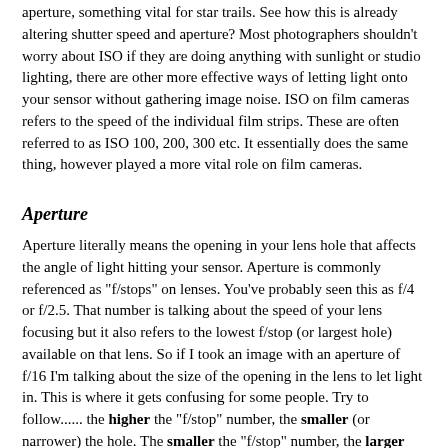aperture, something vital for star trails. See how this is already altering shutter speed and aperture? Most photographers shouldn't worry about ISO if they are doing anything with sunlight or studio lighting, there are other more effective ways of letting light onto your sensor without gathering image noise. ISO on film cameras refers to the speed of the individual film strips. These are often referred to as ISO 100, 200, 300 etc. It essentially does the same thing, however played a more vital role on film cameras.
Aperture
Aperture literally means the opening in your lens hole that affects the angle of light hitting your sensor. Aperture is commonly referenced as "f/stops" on lenses. You've probably seen this as f/4 or f/2.5. That number is talking about the speed of your lens focusing but it also refers to the lowest f/stop (or largest hole) available on that lens. So if I took an image with an aperture of f/16 I'm talking about the size of the opening in the lens to let light in. This is where it gets confusing for some people. Try to follow...... the higher the "f/stop" number, the smaller (or narrower) the hole. The smaller the "f/stop" number, the larger the opening in the lens will be. So if you have a lens that is an f/4 lens and you take an image with an aperture of f/4 then you opened the